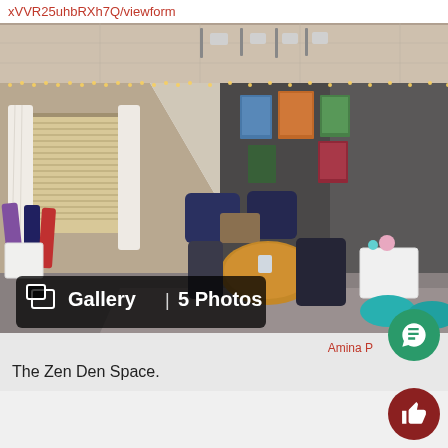xVVR25uhbRXh7Q/viewform
[Figure (photo): Interior photo of a school Zen Den relaxation space with fairy lights along the ceiling, dark walls with nature photographs, blue armchairs and sofas, a round wooden table, white cube side tables, yoga mats, teal poufs, and a gallery overlay showing '5 Photos']
The Zen Den Space.
Amina P